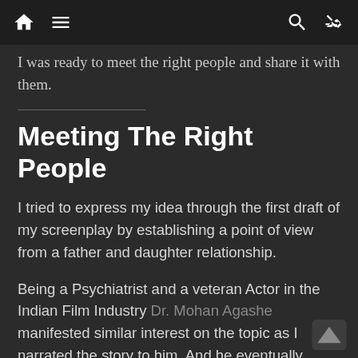[Navigation bar with home, menu, search, and shuffle icons]
I was ready to meet the right people and share it with them.
Meeting The Right People
I tried to express my idea through the first draft of my screenplay by establishing a point of view from a father and daughter relationship.
Being a Psychiatrist and a veteran Actor in the Indian Film Industry Dr. Mohan Agashe manifested similar interest on the topic as I narrated the story to him. And he eventually became the endearing part of the project.